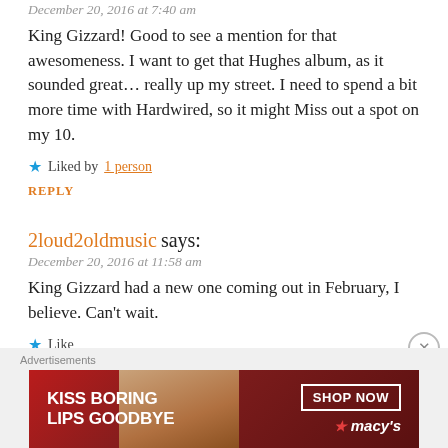December 20, 2016 at 7:40 am
King Gizzard! Good to see a mention for that awesomeness. I want to get that Hughes album, as it sounded great… really up my street. I need to spend a bit more time with Hardwired, so it might Miss out a spot on my 10.
★ Liked by 1 person
REPLY
2loud2oldmusic says:
December 20, 2016 at 11:58 am
King Gizzard had a new one coming out in February, I believe. Can't wait.
★ Like
REPLY
[Figure (infographic): Macy's advertisement banner: 'KISS BORING LIPS GOODBYE' with SHOP NOW button and Macy's logo]
Advertisements